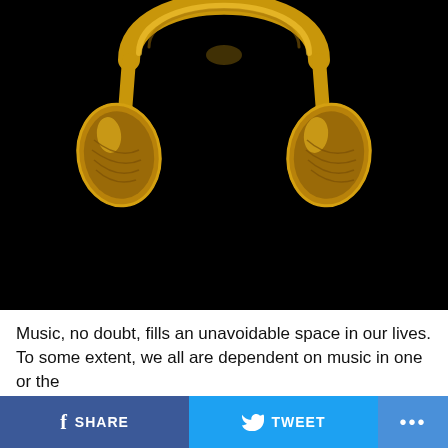[Figure (illustration): Gold metallic over-ear headphones on a black background, rendered with a shiny golden finish]
Music, no doubt, fills an unavoidable space in our lives. To some extent, we all are dependent on music in one or the
f SHARE  [Twitter bird] TWEET  ...